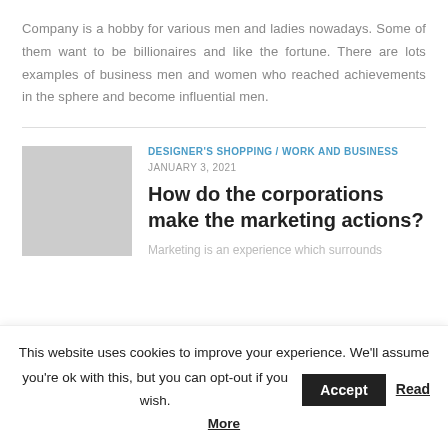Company is a hobby for various men and ladies nowadays. Some of them want to be billionaires and like the fortune. There are lots examples of business men and women who reached achievements in the sphere and become influential men.
[Figure (photo): Gray placeholder thumbnail image for article]
DESIGNER'S SHOPPING / WORK AND BUSINESS
JANUARY 3, 2021
How do the corporations make the marketing actions?
Marketing is an experience which surrounds...
This website uses cookies to improve your experience. We'll assume you're ok with this, but you can opt-out if you wish. Accept Read More